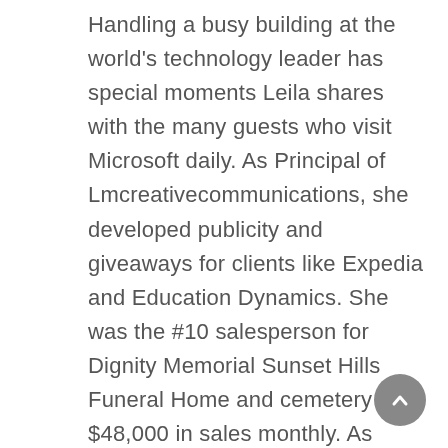Handling a busy building at the world's technology leader has special moments Leila shares with the many guests who visit Microsoft daily. As Principal of Lmcreativecommunications, she developed publicity and giveaways for clients like Expedia and Education Dynamics. She was the #10 salesperson for Dignity Memorial Sunset Hills Funeral Home and cemetery with $48,000 in sales monthly. As Director of Development for Northwest African American Museum, she was responsible for raising 91% or $17 million of the $22 million capital campaign. Leila has two children, Kayla and Blake, and enjoys volunteering at her daughter's school, Raisbeck Aviation High